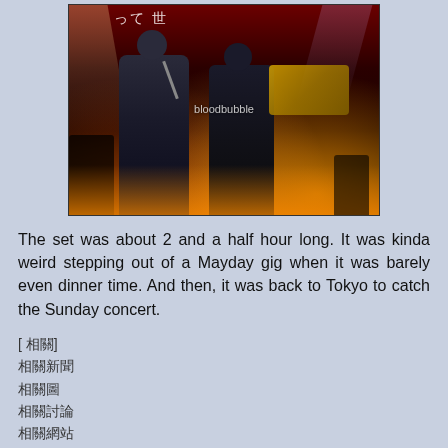[Figure (photo): Concert photo showing two performers on stage, one singing into a microphone and another playing electric guitar, with dramatic stage lighting and red/orange glow. Watermark 'bloodbubble' visible in center.]
The set was about 2 and a half hour long. It was kinda weird stepping out of a Mayday gig when it was barely even dinner time. And then, it was back to Tokyo to catch the Sunday concert.
[ 相關]
相關新聞
相關圖
相關討論
相關網站
相關